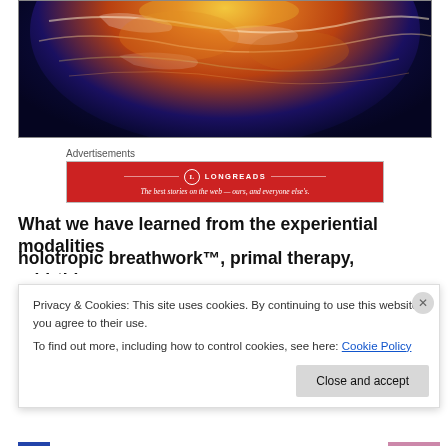[Figure (illustration): Artistic painting of a planet or celestial body with swirling orange, gold, and white patterns against a deep blue/black background, resembling Jupiter's surface or a cosmic entity]
Advertisements
[Figure (logo): Longreads advertisement banner - red background with white text: LONGREADS logo and tagline 'The best stories on the web — ours, and everyone else's.']
What we have learned from the experiential modalities holotropic breathwork™, primal therapy, rebirthing
Privacy & Cookies: This site uses cookies. By continuing to use this website, you agree to their use.
To find out more, including how to control cookies, see here: Cookie Policy
Close and accept